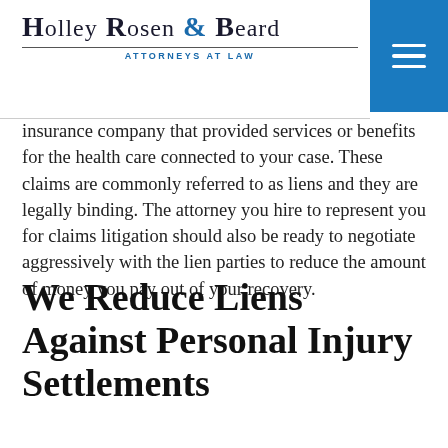Holley Rosen & Beard — Attorneys at Law
insurance company that provided services or benefits for the health care connected to your case. These claims are commonly referred to as liens and they are legally binding. The attorney you hire to represent you for claims litigation should also be ready to negotiate aggressively with the lien parties to reduce the amount of money you pay out of your recovery.
We Reduce Liens Against Personal Injury Settlements